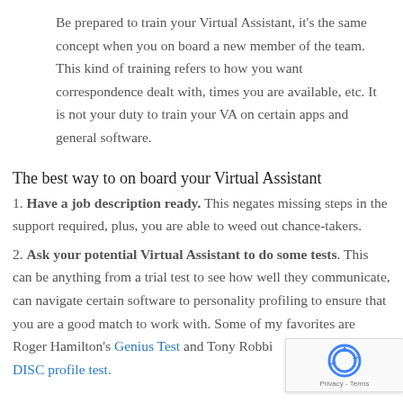Be prepared to train your Virtual Assistant, it's the same concept when you on board a new member of the team. This kind of training refers to how you want correspondence dealt with, times you are available, etc. It is not your duty to train your VA on certain apps and general software.
The best way to on board your Virtual Assistant
1. Have a job description ready. This negates missing steps in the support required, plus, you are able to weed out chance-takers.
2. Ask your potential Virtual Assistant to do some tests. This can be anything from a trial test to see how well they communicate, can navigate certain software to personality profiling to ensure that you are a good match to work with. Some of my favorites are Roger Hamilton's Genius Test and Tony Robbins' DISC profile test.